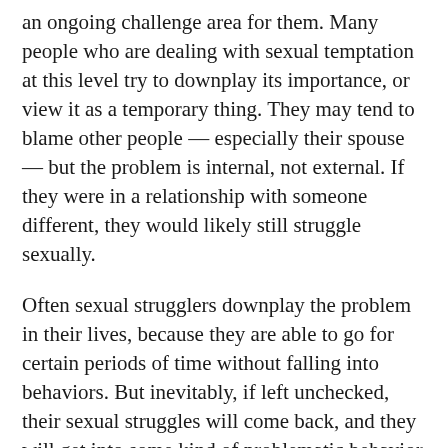an ongoing challenge area for them. Many people who are dealing with sexual temptation at this level try to downplay its importance, or view it as a temporary thing. They may tend to blame other people — especially their spouse — but the problem is internal, not external. If they were in a relationship with someone different, they would likely still struggle sexually.
Often sexual strugglers downplay the problem in their lives, because they are able to go for certain periods of time without falling into behaviors. But inevitably, if left unchecked, their sexual struggles will come back, and they will get into some kind of problematic behavior again if and when the circumstances allow. In other words, they can stop, but they can't stay stopped.
The solution is a bitter pill for some people to swallow: recognize that this is an ongoing issue, and it won't go away. We need to keep vigilant. How? Read on.